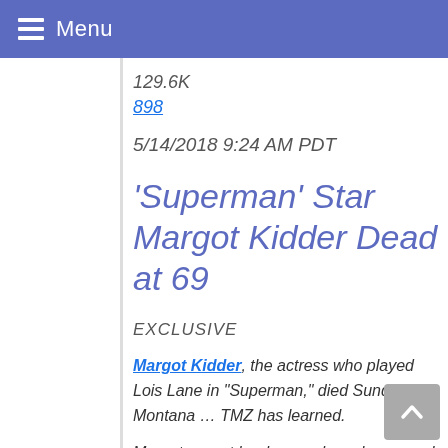Menu
129.6K
898
5/14/2018 9:24 AM PDT
'Superman' Star Margot Kidder Dead at 69
EXCLUSIVE
Margot Kidder, the actress who played Lois Lane in "Superman," died Sunday in Montana … TMZ has learned.
Margot was at her home when she passed away, according to the spokesperson at Franzen-Davis Funeral Home in Livingston, MT. The cause of death is unknown at this point.
Bruce Becker, the Park County Attorney, tells TMZ … an unknown person called police to report Margot